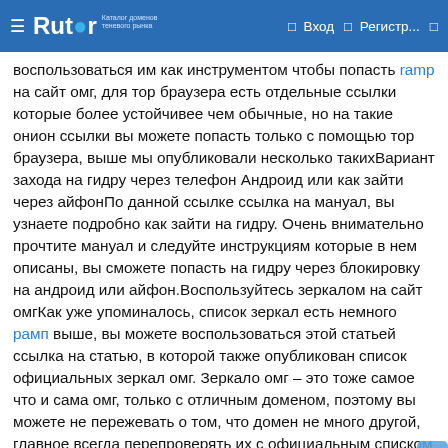Rutor — Вход — Регистр...
воспользоваться им как инструментом чтобы попасть ramp на сайт омг, для тор браузера есть отдельные ссылки которые более устойчивее чем обычные, но на такие онион ссылки вы можете попасть только с помощью тор браузера, выше мы опубликовали несколько такихВариант захода на гидру через телефон Андроид или как зайти через айфонПо данной ссылке ссылка на мануал, вы узнаете подробно как зайти на гидру. Очень внимательно прочтите мануал и следуйте инструкциям которые в нем описаны, вы сможете попасть на гидру через блокировку на андроид или айфон.Воспользуйтесь зеркалом на сайт омгКак уже упоминалось, список зеркал есть немного рамп выше, вы можете воспользоваться этой статьей ссылка на статью, в которой также опубликован список официальных зеркал омг. Зеркало омг – это тоже самое что и сама омг, только с отличным доменом, поэтому вы можете не пережевать о том, что домен не много другой, главное всегда перепроверять их с официальным списком доменов сайта omg.Это были основные способы которые должны вас